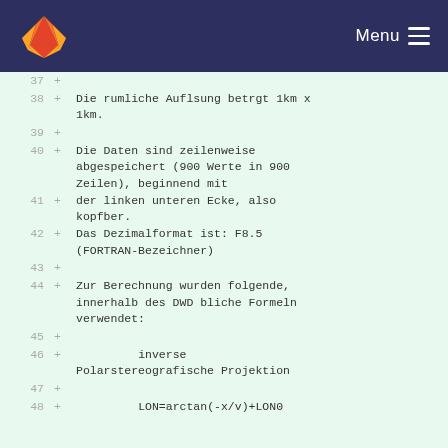Menu
37
38 + Die rumliche Auflsung betrgt 1km x 1km.
39
40 + Die Daten sind zeilenweise abgespeichert (900 Werte in 900 Zeilen), beginnend mit
41 + der linken unteren Ecke, also kopfber.
42 + Das Dezimalformat ist: F8.5 (FORTRAN-Bezeichner)
43
44 + Zur Berechnung wurden folgende, innerhalb des DWD bliche Formeln verwendet:
45
46 +          inverse Polarstereografische Projektion
47
48 + LON=arctan(-x/v)+LON0